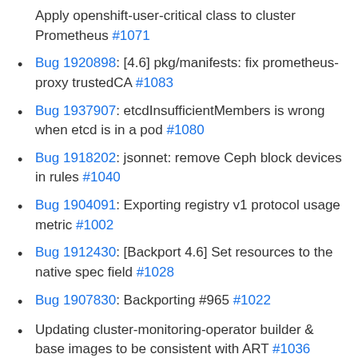Apply openshift-user-critical class to cluster Prometheus #1071
Bug 1920898: [4.6] pkg/manifests: fix prometheus-proxy trustedCA #1083
Bug 1937907: etcdInsufficientMembers is wrong when etcd is in a pod #1080
Bug 1918202: jsonnet: remove Ceph block devices in rules #1040
Bug 1904091: Exporting registry v1 protocol usage metric #1002
Bug 1912430: [Backport 4.6] Set resources to the native spec field #1028
Bug 1907830: Backporting #965 #1022
Updating cluster-monitoring-operator builder & base images to be consistent with ART #1036
Full changelog
CLUSTER-NETWORK-OPERATOR